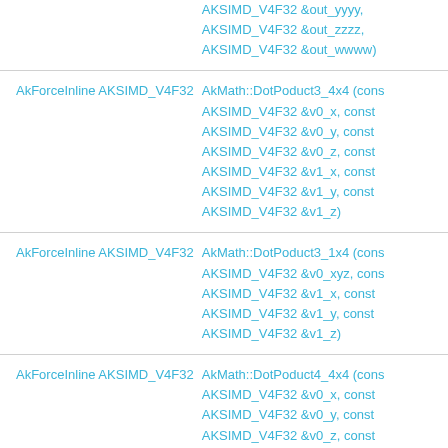|  | AKSIMD_V4F32 &out_yyyy,
AKSIMD_V4F32 &out_zzzz,
AKSIMD_V4F32 &out_wwww) |
| AkForceInline AKSIMD_V4F32 | AkMath::DotPoduct3_4x4 (const
AKSIMD_V4F32 &v0_x, const
AKSIMD_V4F32 &v0_y, const
AKSIMD_V4F32 &v0_z, const
AKSIMD_V4F32 &v1_x, const
AKSIMD_V4F32 &v1_y, const
AKSIMD_V4F32 &v1_z) |
| AkForceInline AKSIMD_V4F32 | AkMath::DotPoduct3_1x4 (const
AKSIMD_V4F32 &v0_xyz, const
AKSIMD_V4F32 &v1_x, const
AKSIMD_V4F32 &v1_y, const
AKSIMD_V4F32 &v1_z) |
| AkForceInline AKSIMD_V4F32 | AkMath::DotPoduct4_4x4 (const
AKSIMD_V4F32 &v0_x, const
AKSIMD_V4F32 &v0_y, const
AKSIMD_V4F32 &v0_z, const
AKSIMD_V4F32 &v0_w, const |